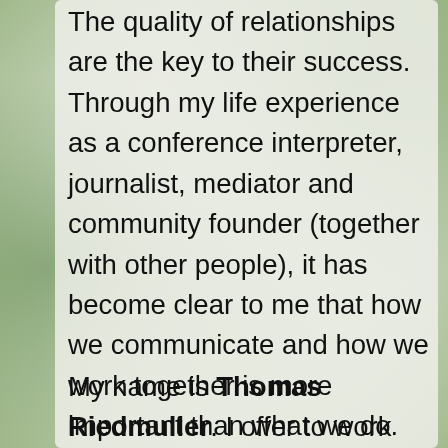The quality of relationships are the key to their success. Through my life experience as a conference interpreter, journalist, mediator and community founder (together with other people), it has become clear to me that how we communicate and how we work together is more important than what we do.
My name is Thomas Riedmuller. I offer to work with you individually